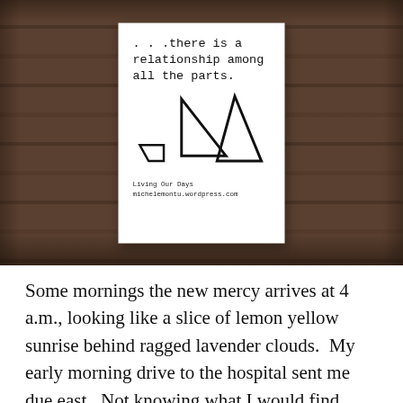[Figure (photo): A white card/poster placed on a rustic wooden plank background. The card contains typewriter-style text reading '...there is a relationship among all the parts.' with three triangles of different sizes below the text, and at the bottom: 'Living Our Days' and 'michelemontu.wordpress.com'.]
Some mornings the new mercy arrives at 4 a.m., looking like a slice of lemon yellow sunrise behind ragged lavender clouds.  My early morning drive to the hospital sent me due east.  Not knowing what I would find there, I